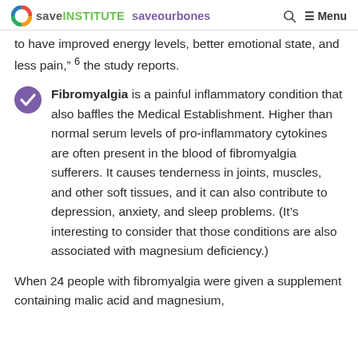Save Institute — Save Our Bones
to have improved energy levels, better emotional state, and less pain,” ⁶ the study reports.
Fibromyalgia is a painful inflammatory condition that also baffles the Medical Establishment. Higher than normal serum levels of pro-inflammatory cytokines are often present in the blood of fibromyalgia sufferers. It causes tenderness in joints, muscles, and other soft tissues, and it can also contribute to depression, anxiety, and sleep problems. (It’s interesting to consider that those conditions are also associated with magnesium deficiency.)
When 24 people with fibromyalgia were given a supplement containing malic acid and magnesium,